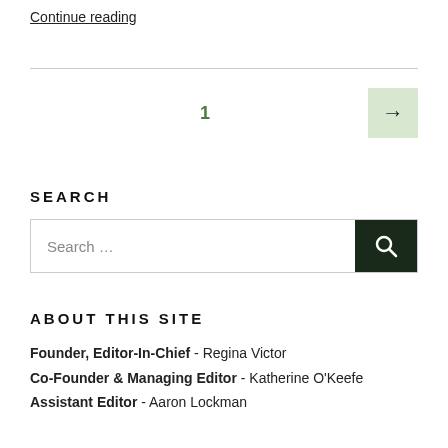Continue reading
1
SEARCH
Search …
ABOUT THIS SITE
Founder, Editor-In-Chief - Regina Victor
Co-Founder & Managing Editor - Katherine O'Keefe
Assistant Editor - Aaron Lockman